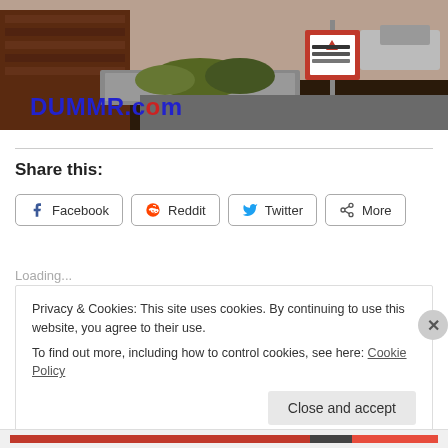[Figure (photo): Street scene photo with brick building and Domino's pizza sign. 'DUMMR.com' text overlaid in blue on lower left of photo.]
Share this:
Facebook  Reddit  Twitter  More
Loading...
Privacy & Cookies: This site uses cookies. By continuing to use this website, you agree to their use.
To find out more, including how to control cookies, see here: Cookie Policy
Close and accept